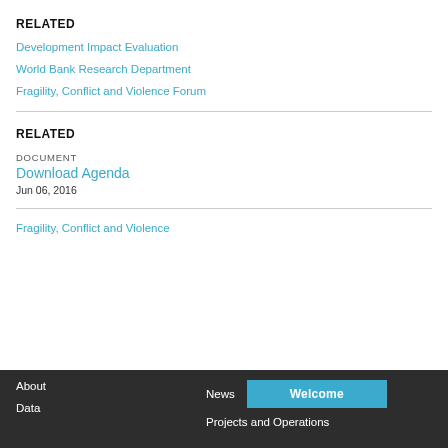RELATED
Development Impact Evaluation
World Bank Research Department
Fragility, Conflict and Violence Forum
RELATED
DOCUMENT
Download Agenda
Jun 06, 2016
Fragility, Conflict and Violence
About  News  Welcome  Data  Projects and Operations